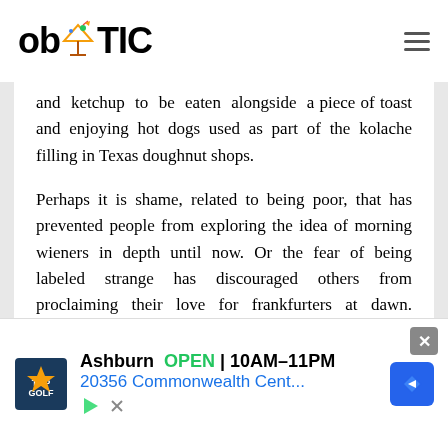ob TIC
and ketchup to be eaten alongside a piece of toast and enjoying hot dogs used as part of the kolache filling in Texas doughnut shops.

Perhaps it is shame, related to being poor, that has prevented people from exploring the idea of morning wieners in depth until now. Or the fear of being labeled strange has discouraged others from proclaiming their love for frankfurters at dawn. Shame, class, and food are so tightly intertwined and can manifest
[Figure (screenshot): Advertisement banner for TopGolf Ashburn showing OPEN 10AM-11PM and address 20356 Commonwealth Cent...]